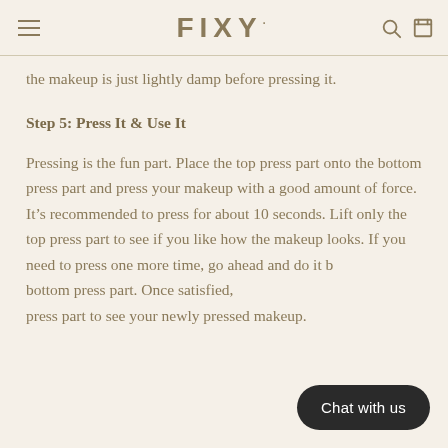FIXY
the makeup is just lightly damp before pressing it.
Step 5: Press It & Use It
Pressing is the fun part. Place the top press part onto the bottom press part and press your makeup with a good amount of force. It’s recommended to press for about 10 seconds. Lift only the top press part to see if you like how the makeup looks. If you need to press one more time, go ahead and do it by lifting the bottom press part. Once satisfied, lift the top press part to see your newly pressed makeup.